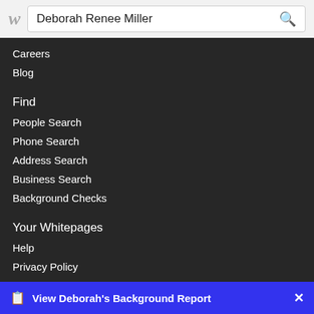Deborah Renee Miller
Careers
Blog
Find
People Search
Phone Search
Address Search
Business Search
Background Checks
Your Whitepages
Help
Privacy Policy
Terms of Use
View Deborah's Background Report